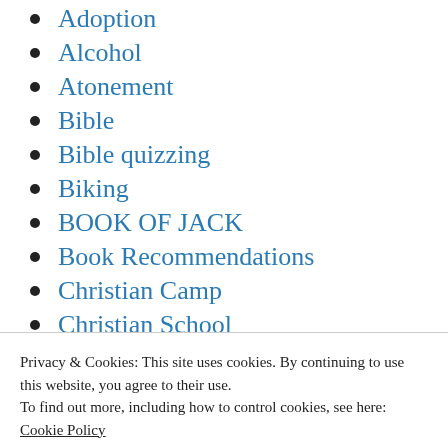Adoption
Alcohol
Atonement
Bible
Bible quizzing
Biking
BOOK OF JACK
Book Recommendations
Christian Camp
Christian School
Church
Privacy & Cookies: This site uses cookies. By continuing to use this website, you agree to their use.
To find out more, including how to control cookies, see here:
Cookie Policy
Close and accept